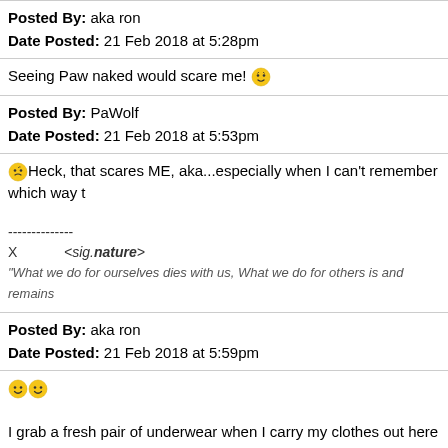Posted By: aka ron
Date Posted: 21 Feb 2018 at 5:28pm
Seeing Paw naked would scare me! 🙂
Posted By: PaWolf
Date Posted: 21 Feb 2018 at 5:53pm
🙂Heck, that scares ME, aka...especially when I can't remember which way t
--------------
X           <sig.nature>
"What we do for ourselves dies with us, What we do for others is and remains
Posted By: aka ron
Date Posted: 21 Feb 2018 at 5:59pm
😊😊

I grab a fresh pair of underwear when I carry my clothes out here to the living and comfortable.